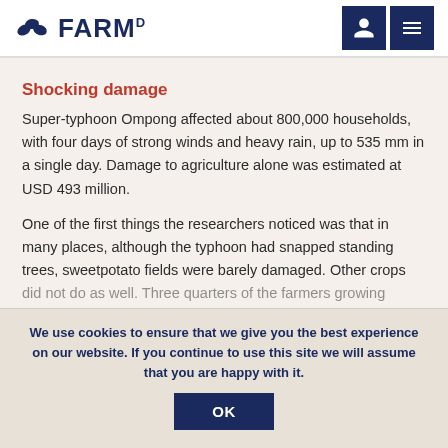FARMD
Shocking damage
Super-typhoon Ompong affected about 800,000 households, with four days of strong winds and heavy rain, up to 535 mm in a single day. Damage to agriculture alone was estimated at USD 493 million.
One of the first things the researchers noticed was that in many places, although the typhoon had snapped standing trees, sweetpotato fields were barely damaged. Other crops did not do as well. Three quarters of the farmers growing
We use cookies to ensure that we give you the best experience on our website. If you continue to use this site we will assume that you are happy with it.